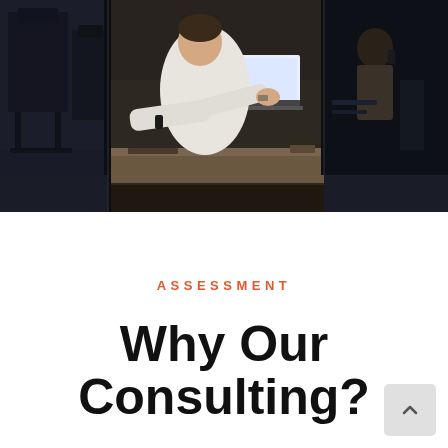[Figure (photo): Collage of three office/work photos: left panel shows dark office chairs, center panel shows a person in white shirt working at a laptop at a desk, right panel shows a dark office scene with partial view of a person]
ASSESSMENT
Why Our Consulting?